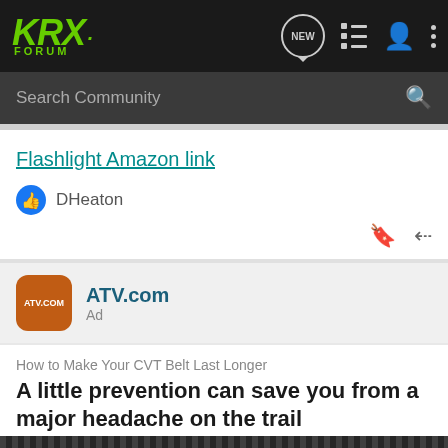KRX FORUM — navigation bar with NEW button, list icon, person icon, dots icon
Search Community
Flashlight Amazon link
DHeaton
[Figure (other): ATV.com advertisement with orange rounded square logo, bold blue-green brand name ATV.com, and Ad label]
How to Make Your CVT Belt Last Longer
A little prevention can save you from a major headache on the trail
[Figure (photo): Close-up grayscale photo of a CVT belt or mechanical component with ridged texture]